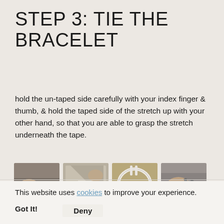STEP 3: TIE THE BRACELET
hold the un-taped side carefully with your index finger & thumb, & hold the taped side of the stretch up with your other hand, so that you are able to grasp the stretch underneath the tape.
[Figure (photo): Four sequential photos showing hands tying a bracelet: (1) hands holding beads and elastic cord, (2) hand pulling tape corner of elastic, (3) looped white elastic cord, (4) hands using pliers or tool on clasp.]
This website uses cookies to improve your experience.
Got It!
Deny